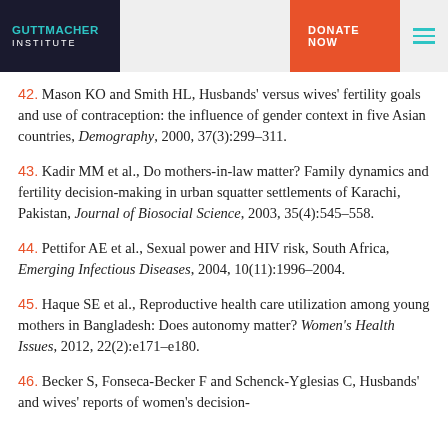GUTTMACHER INSTITUTE | DONATE NOW
42. Mason KO and Smith HL, Husbands' versus wives' fertility goals and use of contraception: the influence of gender context in five Asian countries, Demography, 2000, 37(3):299–311.
43. Kadir MM et al., Do mothers-in-law matter? Family dynamics and fertility decision-making in urban squatter settlements of Karachi, Pakistan, Journal of Biosocial Science, 2003, 35(4):545–558.
44. Pettifor AE et al., Sexual power and HIV risk, South Africa, Emerging Infectious Diseases, 2004, 10(11):1996–2004.
45. Haque SE et al., Reproductive health care utilization among young mothers in Bangladesh: Does autonomy matter? Women's Health Issues, 2012, 22(2):e171–e180.
46. Becker S, Fonseca-Becker F and Schenck-Yglesias C, Husbands' and wives' reports of women's decision-